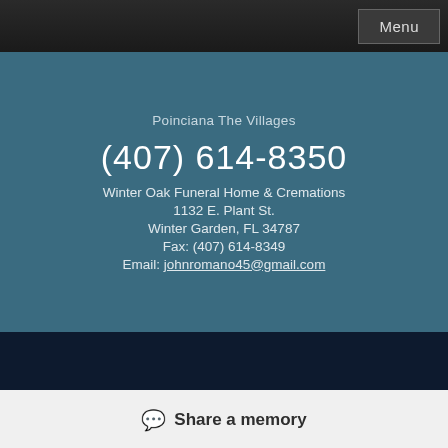Menu
Poinciana The Villages
(407) 614-8350
Winter Oak Funeral Home & Cremations
1132 E. Plant St.
Winter Garden, FL 34787
Fax: (407) 614-8349
Email: johnromano45@gmail.com
ADMIN | PRIVACY POLICY | TERMS OF USE | SITE MAP | WEBMASTER | OBITTREE | FUNERAL HOME SOFTWARE POWERED BY FRONTRUNNER PROFESSIONAL
Share a memory